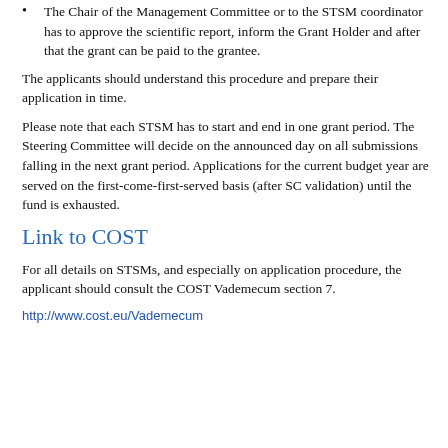The Chair of the Management Committee or to the STSM coordinator has to approve the scientific report, inform the Grant Holder and after that the grant can be paid to the grantee.
The applicants should understand this procedure and prepare their application in time.
Please note that each STSM has to start and end in one grant period. The Steering Committee will decide on the announced day on all submissions falling in the next grant period. Applications for the current budget year are served on the first-come-first-served basis (after SC validation) until the fund is exhausted.
Link to COST
For all details on STSMs, and especially on application procedure, the applicant should consult the COST Vademecum section 7.
http://www.cost.eu/Vademecum